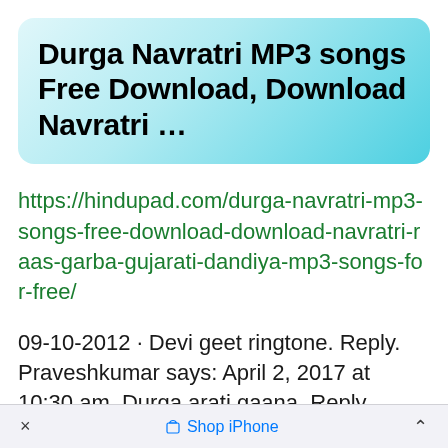Durga Navratri MP3 songs Free Download, Download Navratri …
https://hindupad.com/durga-navratri-mp3-songs-free-download-download-navratri-raas-garba-gujarati-dandiya-mp3-songs-for-free/
09-10-2012  · Devi geet ringtone. Reply. Praveshkumar says: April 2, 2017 at 10:30 am. Durga arati gaana. Reply. Sugha bapodara says: September 29,
× Shop iPhone ^